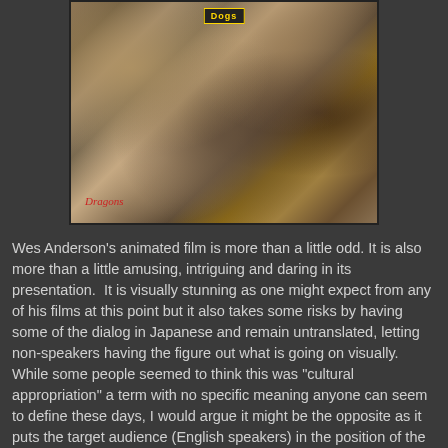[Figure (photo): Movie poster or promotional image for Isle of Dogs (Wes Anderson animated film) showing various dog characters and a young boy character surrounded by dogs. Text 'Dogs' visible at top and 'Dragons' written in red at bottom left.]
Wes Anderson's animated film is more than a little odd. It is also more than a little amusing, intriguing and daring in its presentation.  It is visually stunning as one might expect from any of his films at this point but it also takes some risks by having some of the dialog in Japanese and remain untranslated, letting non-speakers having the figure out what is going on visually.  While some people seemed to think this was "cultural appropriation" a term with no specific meaning anyone can seem to define these days, I would argue it might be the opposite as it puts the target audience (English speakers) in the position of the foreigner having to parse out what is being in said in a place they do not understand the language.